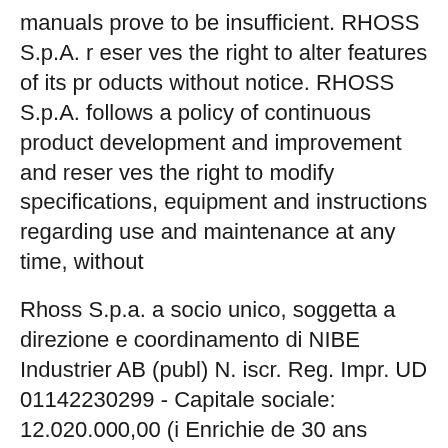manuals prove to be insufficient. RHOSS S.p.A. r eser ves the right to alter features of its pr oducts without notice. RHOSS S.p.A. follows a policy of continuous product development and improvement and reser ves the right to modify specifications, equipment and instructions regarding use and maintenance at any time, without
Rhoss S.p.a. a socio unico, soggetta a direzione e coordinamento di NIBE Industrier AB (publ) N. iscr. Reg. Impr. UD 01142230299 - Capitale sociale: 12.020.000,00 (i Enrichie de 30 ans d'expérience en qualité d'installateurs dans le secteur du génie climatique, la société